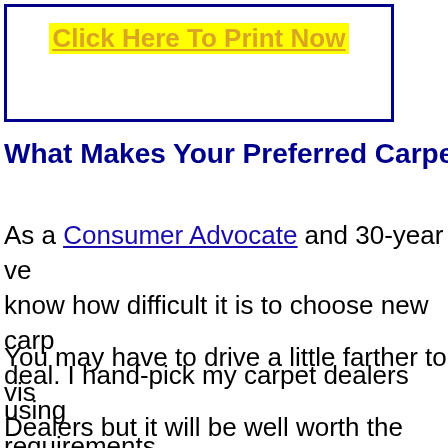Click Here To Print Now
What Makes Your Preferred Carpet Dea
As a Consumer Advocate and 30-year vet know how difficult it is to choose new carp deal. I hand-pick my carpet dealers using requirements.
You may have to drive a little farther to vis Dealers but it will be well worth the trip! Be coupon. (Most dealers honor my coupon,